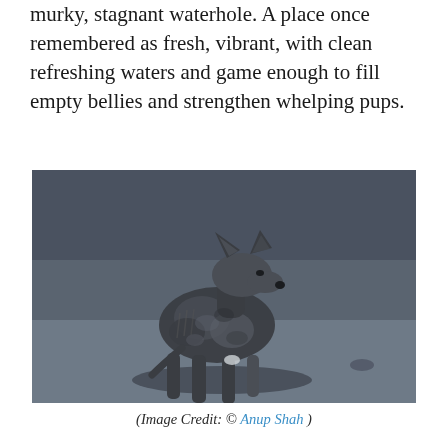murky, stagnant waterhole. A place once remembered as fresh, vibrant, with clean refreshing waters and game enough to fill empty bellies and strengthen whelping pups.
[Figure (photo): Black and white / blue-toned photograph of a thin, mangy jackal standing on a flat, dry surface. The animal appears emaciated with patchy fur, prominent ribs, and shadows beneath it.]
(Image Credit: © Anup Shah )